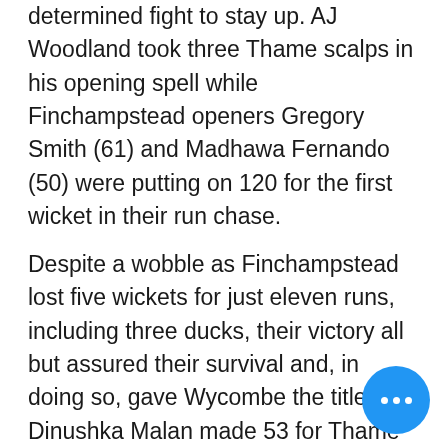determined fight to stay up. AJ Woodland took three Thame scalps in his opening spell while Finchampstead openers Gregory Smith (61) and Madhawa Fernando (50) were putting on 120 for the first wicket in their run chase.
Despite a wobble as Finchampstead lost five wickets for just eleven runs, including three ducks, their victory all but assured their survival and, in doing so, gave Wycombe the title. Dinushka Malan made 53 for Thame as wickets tumbled at the other end. Sam Parry also claimed three wickets, the final one being an excellent ca... by Casterton to start the celebra...
[Figure (other): Blue circular FAB button with three white dots (ellipsis/more options icon) in bottom-right corner]